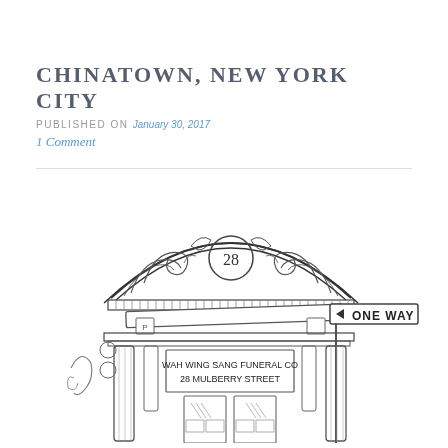CHINATOWN, NEW YORK CITY
PUBLISHED ON January 30, 2017
1 Comment
[Figure (illustration): Pen-and-ink sketch of an ornate building facade with a decorative arched pediment featuring scrollwork and the number 28 in the center. Below the arch is a street sign reading 'ONE WAY' and a sign board reading 'WAH WING SANG FUNERAL CO 28 MULBERRY STREET'. The building has columns and two windows at the bottom.]